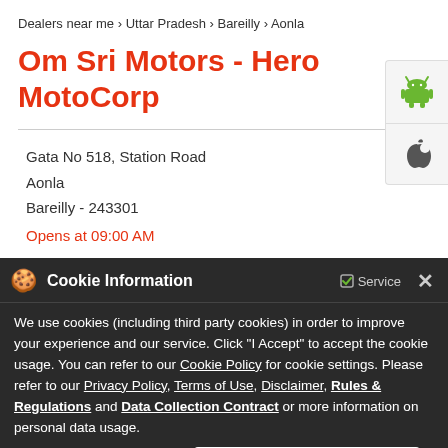Dealers near me > Uttar Pradesh > Bareilly > Aonla
Om Sri Motors - Hero MotoCorp
Gata No 518, Station Road
Aonla
Bareilly - 243301
Opens at 09:00 AM
[Figure (screenshot): Cookie Information overlay banner with text about cookie usage policy, links to Cookie Policy, Privacy Policy, Terms of Use, Disclaimer, Rules & Regulations, Data Collection Contract, and I ACCEPT button]
[Figure (screenshot): Bottom banner showing motorcycle image with PULSE text and LET'S RAISE text]